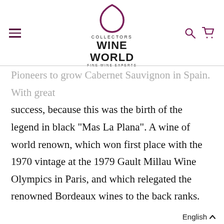COLLECTORS WINE WORLD FINE WINE EXPERTS
Pioneers to grow Cabernet Sauvignon in Spain. With great success, because this was the birth of the legend in black "Mas La Plana". A wine of world renown, which won first place with the 1970 vintage at the 1979 Gault Millau Wine Olympics in Paris, and which relegated the renowned Bordeaux wines to the back ranks. But also climate and environmental protection is very close to Familia Torres' heart and until today more than 15.7 million Euros have been invested in this project. The "Torres&Earth" programme, which was set up specifically for this purpose, deals intensively with global warming, efficient meas...
English